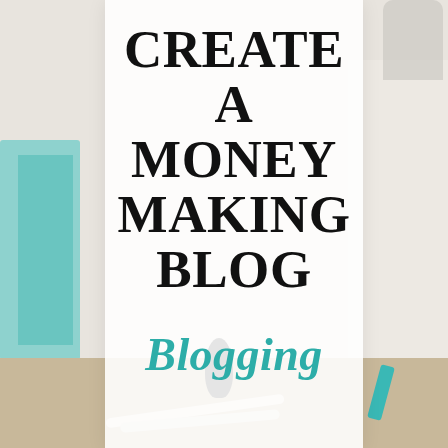[Figure (photo): Blurred bright home office/desk background with teal file boxes on left, shelving on right, desk surface at bottom, and a white banner/card overlay in the center containing text]
CREATE A MONEY MAKING BLOG
Blogging